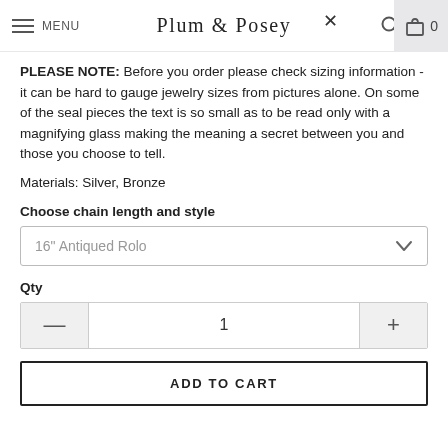MENU | PLUM & POSEY | 0
PLEASE NOTE: Before you order please check sizing information - it can be hard to gauge jewelry sizes from pictures alone. On some of the seal pieces the text is so small as to be read only with a magnifying glass making the meaning a secret between you and those you choose to tell.
Materials: Silver, Bronze
Choose chain length and style
16" Antiqued Rolo
Qty
1
ADD TO CART